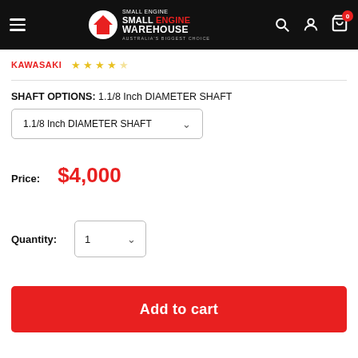Small Engine Warehouse - Australia's Biggest Choice
KAWASAKI ★★★★☆
SHAFT OPTIONS: 1.1/8 Inch DIAMETER SHAFT
1.1/8 Inch DIAMETER SHAFT (dropdown)
Price: $4,000
Quantity: 1
Add to cart